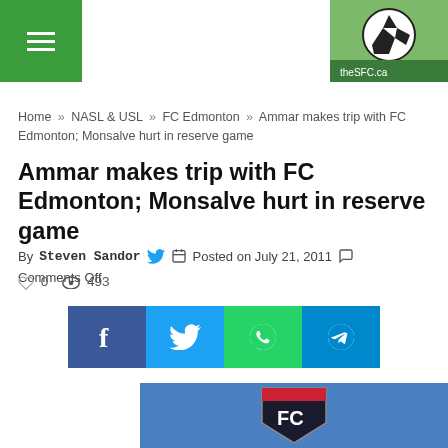Navigation header with hamburger menu and site logo
Home » NASL & USL » FC Edmonton » Ammar makes trip with FC Edmonton; Monsalve hurt in reserve game
Ammar makes trip with FC Edmonton; Monsalve hurt in reserve game
By Steven Sandor   Posted on July 21, 2011   Comments Off
0   493
[Figure (other): Social share buttons: Facebook (blue), Twitter (light blue), WhatsApp (green), Telegram (blue)]
[Figure (photo): FC Edmonton logo on blue background]